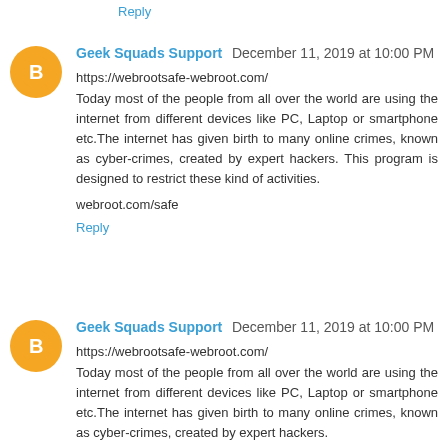Reply
Geek Squads Support December 11, 2019 at 10:00 PM
https://webrootsafe-webroot.com/
Today most of the people from all over the world are using the internet from different devices like PC, Laptop or smartphone etc.The internet has given birth to many online crimes, known as cyber-crimes, created by expert hackers. This program is designed to restrict these kind of activities.

webroot.com/safe
Reply
Geek Squads Support December 11, 2019 at 10:00 PM
https://webrootsafe-webroot.com/
Today most of the people from all over the world are using the internet from different devices like PC, Laptop or smartphone etc.The internet has given birth to many online crimes, known as cyber-crimes, created by expert hackers.